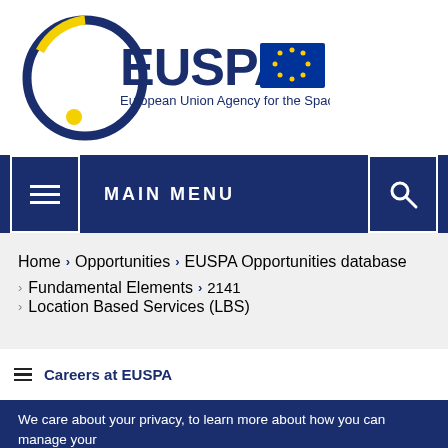[Figure (logo): EUSPA - European Union Agency for the Space Programme logo with circular design and EU flag]
MAIN MENU
Home > Opportunities > EUSPA Opportunities database > Fundamental Elements > 2141 > Location Based Services (LBS)
Careers at EUSPA
We care about your privacy, to learn more about how you can manage your cookie settings and your rights, click here